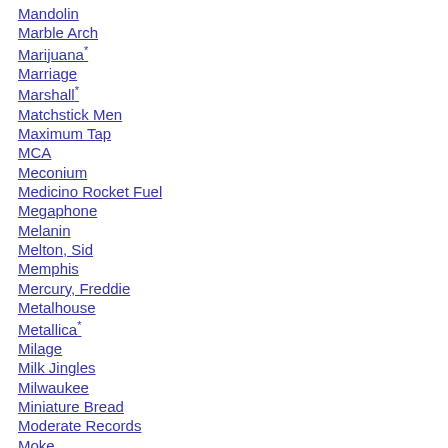Mandolin
Marble Arch
Marijuana*
Marriage
Marshall*
Matchstick Men
Maximum Tap
MCA
Meconium
Medicino Rocket Fuel
Megaphone
Melanin
Melton, Sid
Memphis
Mercury, Freddie
Metalhouse
Metallica*
Milage
Milk Jingles
Milwaukee
Miniature Bread
Moderate Records
Moke
Monopoly
Morty the Mime*